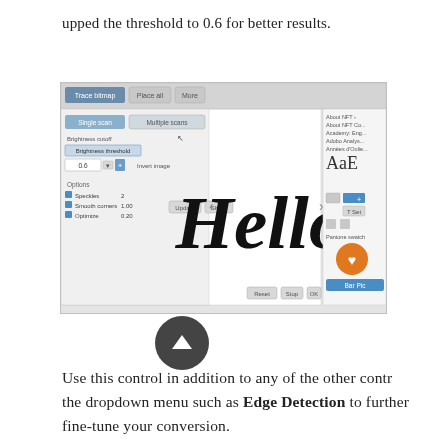upped the threshold to 0.6 for better results.
[Figure (screenshot): Screenshot of a software UI panel showing 'Trace bitmap' dialog with settings on the left (Brightness cutoff, Brightness threshold with value 0.6), a canvas area displaying cursive 'Hello' text in bold black lettering, and a side panel with font/layer options. Orange circle logo visible in bottom right of screenshot.]
Use this control in addition to any of the other controls in the dropdown menu such as Edge Detection to further fine-tune your conversion.